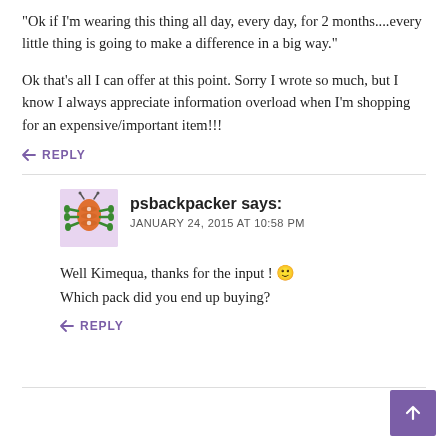“Ok if I’m wearing this thing all day, every day, for 2 months....every little thing is going to make a difference in a big way.”
Ok that’s all I can offer at this point. Sorry I wrote so much, but I know I always appreciate information overload when I’m shopping for an expensive/important item!!!
REPLY
psbackpacker says: JANUARY 24, 2015 AT 10:58 PM
Well Kimequa, thanks for the input ! 🙂 Which pack did you end up buying?
REPLY